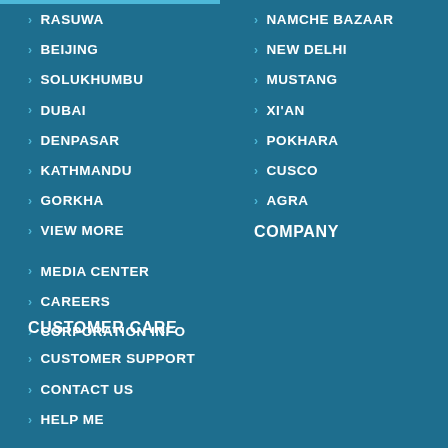RASUWA
BEIJING
SOLUKHUMBU
DUBAI
DENPASAR
KATHMANDU
GORKHA
VIEW MORE
MEDIA CENTER
CAREERS
CORPORATION INFO
NAMCHE BAZAAR
NEW DELHI
MUSTANG
XI'AN
POKHARA
CUSCO
AGRA
COMPANY
CUSTOMER CARE
CUSTOMER SUPPORT
CONTACT US
HELP ME